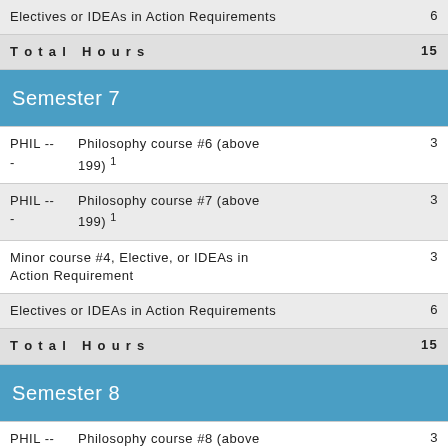| Course | Hours |
| --- | --- |
| Electives or IDEAs in Action Requirements | 6 |
| Total Hours | 15 |
| Semester 7 |  |
| PHIL ---  Philosophy course #6 (above 199) 1 | 3 |
| PHIL ---  Philosophy course #7 (above 199) 1 | 3 |
| Minor course #4, Elective, or IDEAs in Action Requirement | 3 |
| Electives or IDEAs in Action Requirements | 6 |
| Total Hours | 15 |
| Semester 8 |  |
| PHIL ---  Philosophy course #8 (above 199) 1 | 3 |
| PHIL ---  Philosophy course #9 (above 199) 1 | 3 |